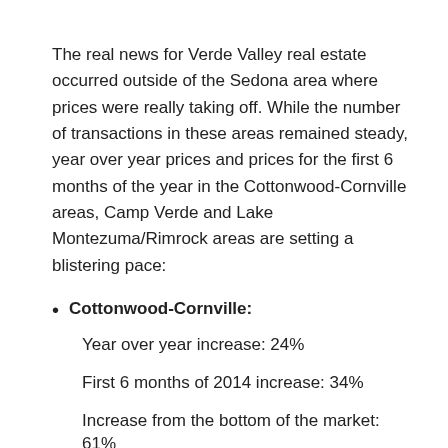The real news for Verde Valley real estate occurred outside of the Sedona area where prices were really taking off. While the number of transactions in these areas remained steady, year over year prices and prices for the first 6 months of the year in the Cottonwood-Cornville areas, Camp Verde and Lake Montezuma/Rimrock areas are setting a blistering pace:
Cottonwood-Cornville:
Year over year increase: 24%
First 6 months of 2014 increase: 34%
Increase from the bottom of the market: 61%